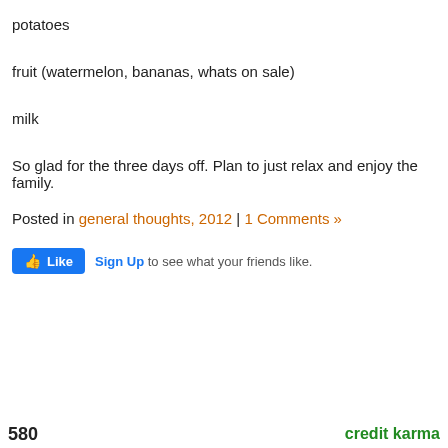potatoes
fruit (watermelon, bananas, whats on sale)
milk
So glad for the three days off. Plan to just relax and enjoy the family.
Posted in general thoughts, 2012 | 1 Comments »
[Figure (other): Facebook Like widget with Sign Up link and text 'to see what your friends like.']
580   credit karma